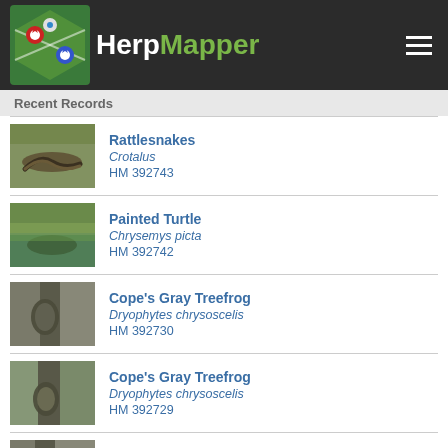HerpMapper
Recent Records
Rattlesnakes | Crotalus | HM 392743
Painted Turtle | Chrysemys picta | HM 392742
Cope's Gray Treefrog | Dryophytes chrysoscelis | HM 392730
Cope's Gray Treefrog | Dryophytes chrysoscelis | HM 392729
Cope's Gray Treefrog | Dryophytes chrysoscelis | HM 392728